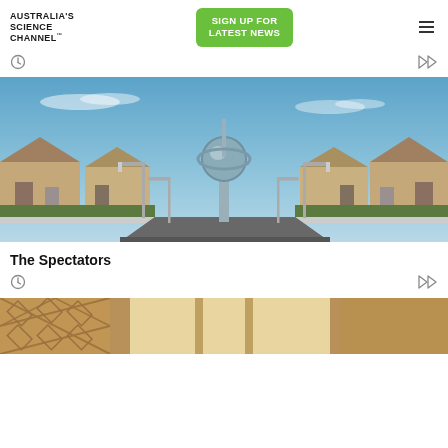[Figure (logo): Australia's Science Channel logo, text only, uppercase sans-serif bold with TM mark]
[Figure (other): Green rounded rectangle button with white bold text: SIGN UP FOR LATEST NEWS]
[Figure (other): Hamburger menu icon (three horizontal lines)]
[Figure (other): Clock icon]
[Figure (other): Play/forward icon]
[Figure (photo): Photo of a suburban street leading to a large metallic sculptural water tower or art installation in the center, with streetlights on both sides and residential houses flanking the road, blue sky overhead]
The Spectators
[Figure (other): Clock icon]
[Figure (other): Play/forward icon]
[Figure (photo): Partial photo showing an indoor scene, possibly a wooden wine rack or furniture interior]